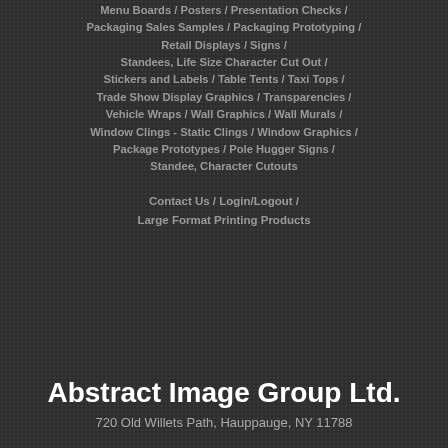Menu Boards / Posters / Presentation Checks / Packaging Sales Samples / Packaging Prototyping / Retail Displays / Signs / Standees, Life Size Character Cut Out / Stickers and Labels / Table Tents / Taxi Tops / Trade Show Display Graphics / Transparencies / Vehicle Wraps / Wall Graphics / Wall Murals / Window Clings - Static Clings / Window Graphics / Package Prototypes / Pole Hugger Signs / Standee, Character Cutouts
Contact Us / Login/Logout / Large Format Printing Products
Abstract Image Group Ltd.
720 Old Willets Path, Hauppauge, NY 11788